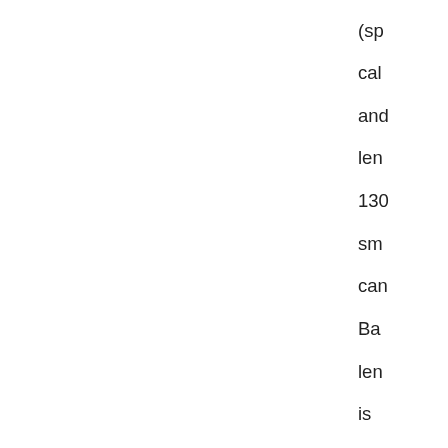(sp cal and len 130 sm can Ba len is 5.6 me No Fu rea at my fac It exp mo of its fea